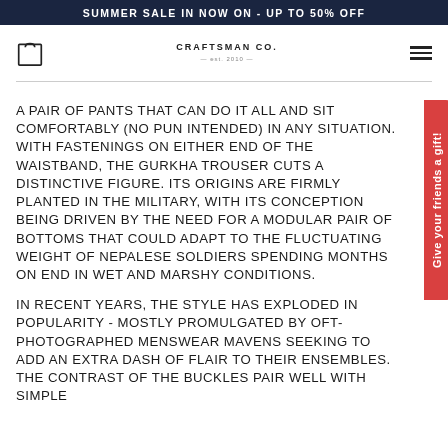SUMMER SALE IN NOW ON - UP TO 50% OFF
[Figure (logo): Shopping bag icon and Craftsman Co. logo with hamburger menu]
A PAIR OF PANTS THAT CAN DO IT ALL AND SIT COMFORTABLY (NO PUN INTENDED) IN ANY SITUATION. WITH FASTENINGS ON EITHER END OF THE WAISTBAND, THE GURKHA TROUSER CUTS A DISTINCTIVE FIGURE. ITS ORIGINS ARE FIRMLY PLANTED IN THE MILITARY, WITH ITS CONCEPTION BEING DRIVEN BY THE NEED FOR A MODULAR PAIR OF BOTTOMS THAT COULD ADAPT TO THE FLUCTUATING WEIGHT OF NEPALESE SOLDIERS SPENDING MONTHS ON END IN WET AND MARSHY CONDITIONS.
IN RECENT YEARS, THE STYLE HAS EXPLODED IN POPULARITY - MOSTLY PROMULGATED BY OFT-PHOTOGRAPHED MENSWEAR MAVENS SEEKING TO ADD AN EXTRA DASH OF FLAIR TO THEIR ENSEMBLES. THE CONTRAST OF THE BUCKLES PAIR WELL WITH SIMPLE